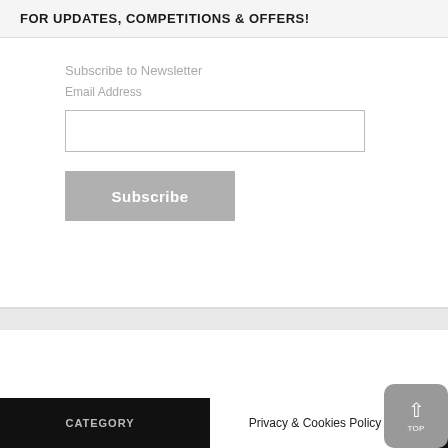FOR UPDATES, COMPETITIONS & OFFERS!
Subscribe to Newsletter
Email Address
Subscribe
CATEGORY
Privacy & Cookies Policy